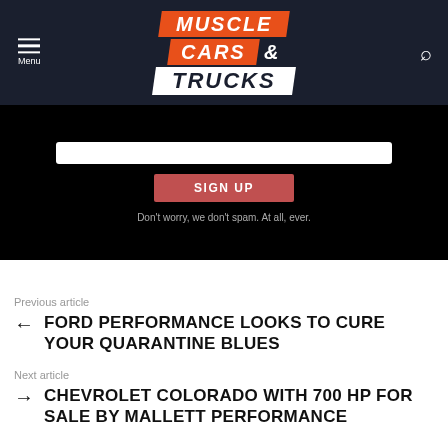[Figure (logo): Muscle Cars & Trucks logo with orange and white text on dark navy background, with hamburger menu and search icon]
[Figure (screenshot): Black background section with white input box, red SIGN UP button, and spam disclaimer text]
Previous article
FORD PERFORMANCE LOOKS TO CURE YOUR QUARANTINE BLUES
Next article
CHEVROLET COLORADO WITH 700 HP FOR SALE BY MALLETT PERFORMANCE